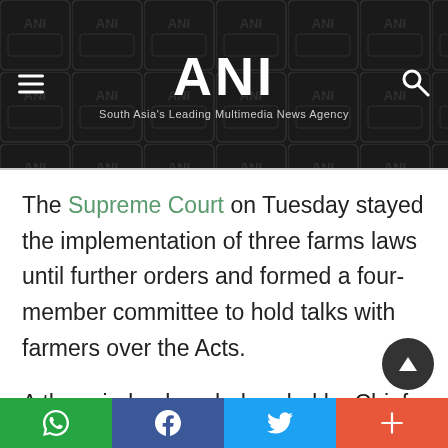ANI — South Asia's Leading Multimedia News Agency
The Supreme Court on Tuesday stayed the implementation of three farms laws until further orders and formed a four-member committee to hold talks with farmers over the Acts.
A three-judge bench, headed by Chief Justice of India (CJI) Sharad Arvind Bobde heard a batch of petitions, including those filed by DMK MP Tiruchi Siva, RJD MP Manoj K Jha, regarding